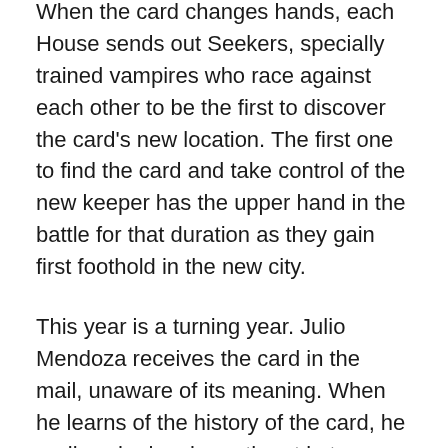When the card changes hands, each House sends out Seekers, specially trained vampires who race against each other to be the first to discover the card's new location. The first one to find the card and take control of the new keeper has the upper hand in the battle for that duration as they gain first foothold in the new city.
This year is a turning year. Julio Mendoza receives the card in the mail, unaware of its meaning. When he learns of the history of the card, he realizes he has been thrust in to a war that holds nothing for him, yet he cannot escape his fate. Still he will not accept his role meekly.
Michelle Bryson is a Seeker for the House of François Arcée. She is pitted against a rival from the House of Pierre Arcée to get to Julio first. Michelle is a young Seeker and if she fails to capture the Keeper, her life may